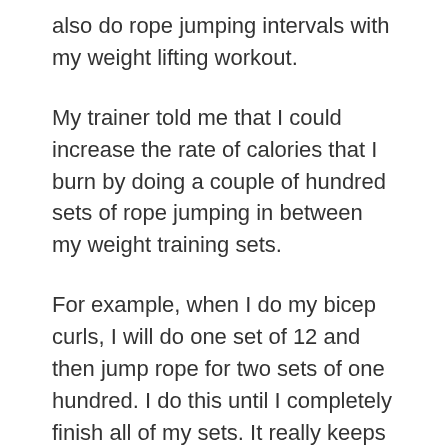also do rope jumping intervals with my weight lifting workout.
My trainer told me that I could increase the rate of calories that I burn by doing a couple of hundred sets of rope jumping in between my weight training sets.
For example, when I do my bicep curls, I will do one set of 12 and then jump rope for two sets of one hundred. I do this until I completely finish all of my sets. It really keeps my heart pumping and I sweat like crazy. For me a rope jumping routine is the best cardiovasculer fitness exercise.